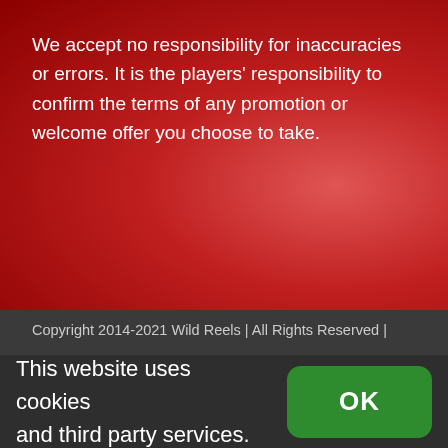We accept no responsibility for inaccuracies or errors. It is the players' responsibility to confirm the terms of any promotion or welcome offer you choose to take.
Copyright 2014-2021 Wild Reels | All Rights Reserved |
This website uses cookies and third party services.